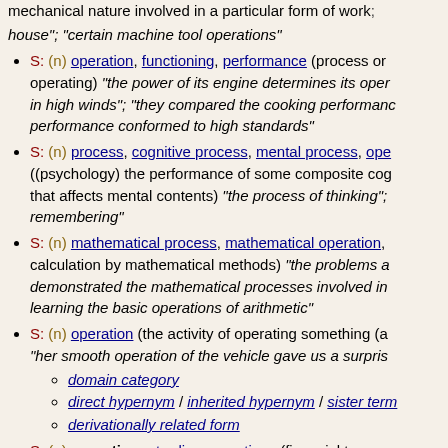mechanical nature involved in a particular form of work; house"; "certain machine tool operations"
S: (n) operation, functioning, performance (process or operating) "the power of its engine determines its operation in high winds"; "they compared the cooking performance"; "performance conformed to high standards"
S: (n) process, cognitive process, mental process, ope... ((psychology) the performance of some composite cognitive that affects mental contents) "the process of thinking"; remembering"
S: (n) mathematical process, mathematical operation, ... calculation by mathematical methods) "the problems a demonstrated the mathematical processes involved in learning the basic operations of arithmetic"
S: (n) operation (the activity of operating something (a) "her smooth operation of the vehicle gave us a surprise
domain category
direct hypernym / inherited hypernym / sister term
derivationally related form
S: (n) operations, trading operations (financial transac... to do with the execution of trades and keeping custome
domain usage
direct hypernym / inherited hypernym / sister term